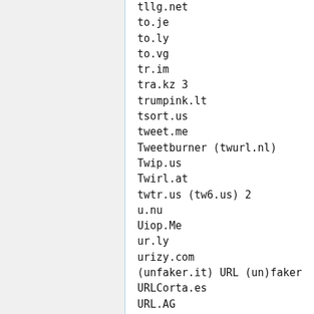tllg.net
to.je
to.ly
to.vg
tr.im
tra.kz 3
trumpink.lt
tsort.us
tweet.me
Tweetburner (twurl.nl)
Twip.us
Twirl.at
twtr.us (tw6.us) 2
u.nu
Uiop.Me
ur.ly
urizy.com
(unfaker.it) URL (un)faker
URLCorta.es
URL.AG
URL.ie
URLi.nl
URLoo.com
urlBorg.com
urlG.info